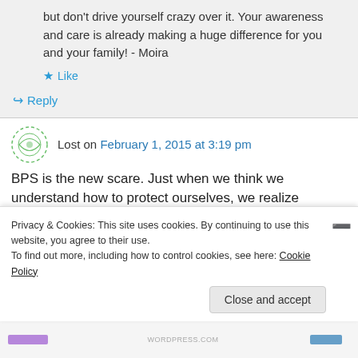but don't drive yourself crazy over it. Your awareness and care is already making a huge difference for you and your family! - Moira
★ Like
↪ Reply
Lost on February 1, 2015 at 3:19 pm
BPS is the new scare. Just when we think we understand how to protect ourselves, we realize
Privacy & Cookies: This site uses cookies. By continuing to use this website, you agree to their use. To find out more, including how to control cookies, see here: Cookie Policy
Close and accept